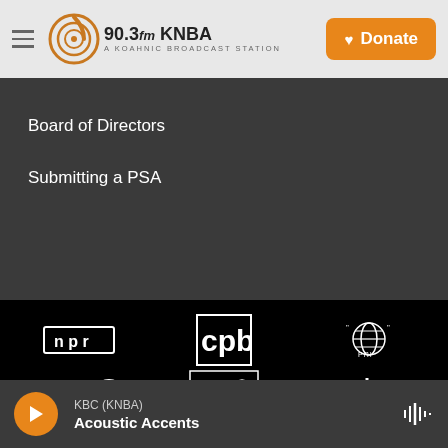90.3fm KNBA — A Koahnic Broadcast Station | Donate
Board of Directors
Submitting a PSA
[Figure (logo): Network partner logos: NPR, CPB, PRI, NV1 Native Voice One, Native America Calling, Indiepi, National Native News]
KBC (KNBA) — Acoustic Accents